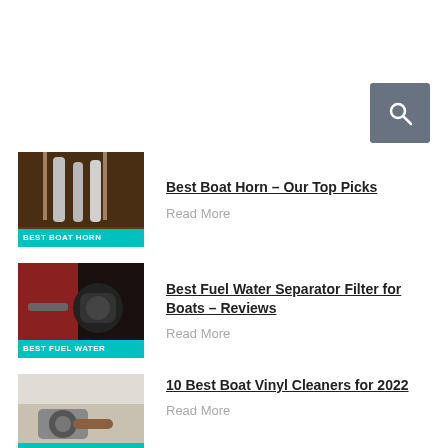[Figure (other): Search button icon (magnifying glass on grey background)]
[Figure (photo): Best Boat Horn thumbnail - chrome boat horns on wooden boat with teal label reading BEST BOAT HORN]
Best Boat Horn – Our Top Picks
Read More
[Figure (photo): Best Fuel Water Separator Filter thumbnail - dark engine components with teal label reading BEST FUEL WATER]
Best Fuel Water Separator Filter for Boats – Reviews
Read More
[Figure (photo): Best Boat Vinyl Cleaner thumbnail - person cleaning boat interior with teal label reading BEST BOAT VINYL CLEANER]
10 Best Boat Vinyl Cleaners for 2022
Read More
[Figure (photo): Best Boat Spotlights thumbnail - night city lights scene]
Top 10 Best Boat Spotlights –